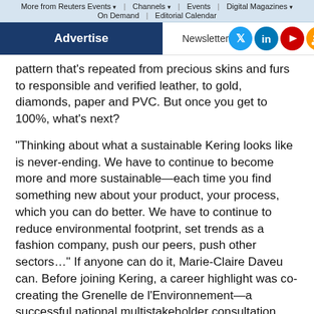More from Reuters Events ▾ | Channels ▾ | Events | Digital Magazines ▾ | On Demand | Editorial Calendar
[Figure (screenshot): Website navigation bar with Advertise button, Newsletter link, and social media icons for Twitter, LinkedIn, YouTube, and RSS]
pattern that's repeated from precious skins and furs to responsible and verified leather, to gold, diamonds, paper and PVC. But once you get to 100%, what's next?
“Thinking about what a sustainable Kering looks like is never-ending. We have to continue to become more and more sustainable—each time you find something new about your product, your process, which you can do better. We have to continue to reduce environmental footprint, set trends as a fashion company, push our peers, push other sectors…” If anyone can do it, Marie-Claire Daveu can. Before joining Kering, a career highlight was co-creating the Grenelle de l’Environnement—a successful national multistakeholder consultation process to achieve environmental policy consensus in France.
Whole system change? Pourquoi pas.